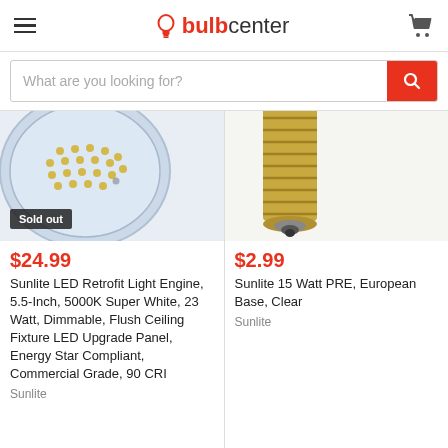bulbcenter
What are you looking for?
[Figure (photo): LED retrofit light engine disc, circular with LED dots visible, sold out badge overlay]
$24.99
Sunlite LED Retrofit Light Engine, 5.5-Inch, 5000K Super White, 23 Watt, Dimmable, Flush Ceiling Fixture LED Upgrade Panel, Energy Star Compliant, Commercial Grade, 90 CRI
Sunlite
[Figure (photo): Light bulb with gold/brass European screw base, close-up]
$2.99
Sunlite 15 Watt PRE, European Base, Clear
Sunlite